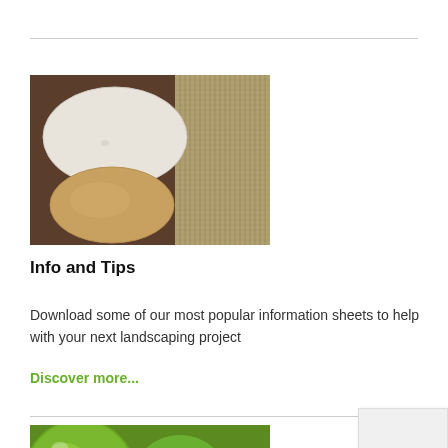[Figure (photo): Two smooth flat stones — one white/light gray on top and one golden/honey-colored below — resting on a brown surface next to a woven bamboo or reed mat.]
Info and Tips
Download some of our most popular information sheets to help with your next landscaping project
Discover more...
[Figure (photo): Partial view of green round objects (likely limes or similar green fruit/plants) visible at bottom of page.]